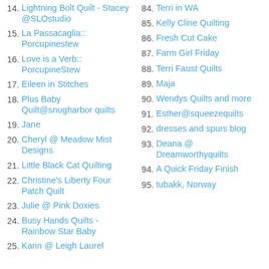14. Lightning Bolt Quilt - Stacey @SLOstudio
15. La Passacaglia:: Porcupinestew
16. Love is a Verb:: PorcupineStew
17. Eileen in Stitches
18. Plus Baby Quilt@snugharbor quilts
19. Jane
20. Cheryl @ Meadow Mist Designs
21. Little Black Cat Quilting
22. Christine's Liberty Four Patch Quilt
23. Julie @ Pink Doxies
24. Busy Hands Quilts - Rainbow Star Baby
25. Karin @ Leigh Laurel
84. Terri in WA
85. Kelly Cline Quilting
86. Fresh Cut Cake
87. Farm Girl Friday
88. Terri Faust Quilts
89. Maja
90. Wendys Quilts and more
91. Esther@squeezequilts
92. dresses and spurs blog
93. Deana @ Dreamworthyquilts
94. A Quick Friday Finish
95. tubakk, Norway